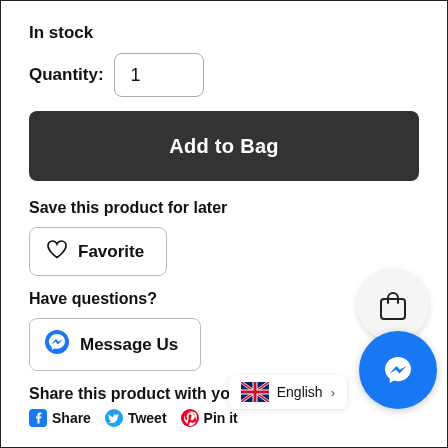In stock
Quantity: 1
Add to Bag
Save this product for later
Favorite
Have questions?
Message Us
Share this product with your f...
Share  Tweet  Pin it
English